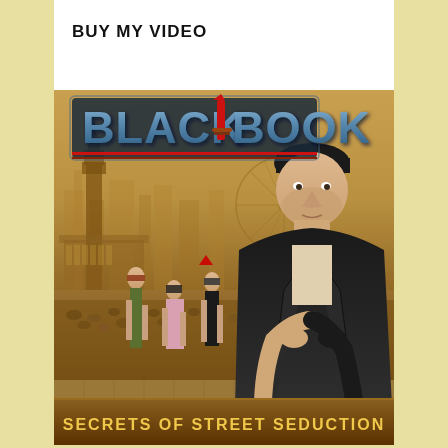BUY MY VIDEO
[Figure (illustration): Movie/video cover art titled 'BLACK BOOK: Secrets of Street Seduction'. Features stylized blue metallic lettering for 'BLACK BOOK' with a red knife/dagger between the two words, red underlines below the title text, set against a golden-amber sepia cityscape background featuring Big Ben and a Ferris wheel (London Eye). A man in a black jacket and black beanie hat stands on the right side. Three women walking are visible on the lower left. A crowd scene fills the lower middle. The bottom has a brown banner with gold text reading 'SECRETS OF STREET SEDUCTION'.]